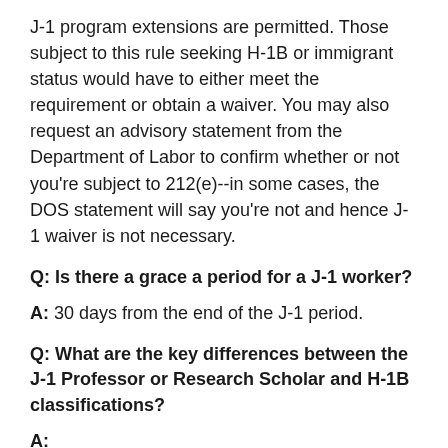J-1 program extensions are permitted. Those subject to this rule seeking H-1B or immigrant status would have to either meet the requirement or obtain a waiver. You may also request an advisory statement from the Department of Labor to confirm whether or not you're subject to 212(e)--in some cases, the DOS statement will say you're not and hence J-1 waiver is not necessary.
Q: Is there a grace a period for a J-1 worker?
A: 30 days from the end of the J-1 period.
Q: What are the key differences between the J-1 Professor or Research Scholar and H-1B classifications?
A: